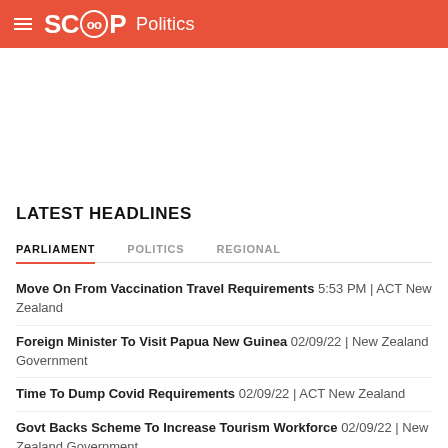SCOOP Politics
LATEST HEADLINES
PARLIAMENT | POLITICS | REGIONAL (tabs)
Move On From Vaccination Travel Requirements 5:53 PM | ACT New Zealand
Foreign Minister To Visit Papua New Guinea 02/09/22 | New Zealand Government
Time To Dump Covid Requirements 02/09/22 | ACT New Zealand
Govt Backs Scheme To Increase Tourism Workforce 02/09/22 | New Zealand Government
Honouring Our Māori Language Champions, 50 Years On 02/09/22 | New Zealand Government